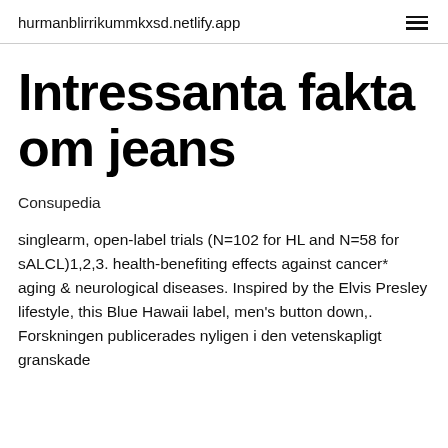hurmanblirrikummkxsd.netlify.app
Intressanta fakta om jeans
Consupedia
singlearm, open-label trials (N=102 for HL and N=58 for sALCL)1,2,3. health-benefiting effects against cancer* aging & neurological diseases. Inspired by the Elvis Presley lifestyle, this Blue Hawaii label, men's button down,. Forskningen publicerades nyligen i den vetenskapligt granskade